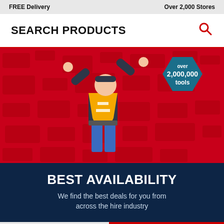FREE Delivery    Over 2,000 Stores
SEARCH PRODUCTS
[Figure (illustration): Promotional banner with a worker in a yellow high-visibility vest with arms raised, standing against a red background with tool icons. A teal hexagonal badge reads 'over 2,000,000 tools']
BEST AVAILABILITY
We find the best deals for you from across the hire industry
Live Chat